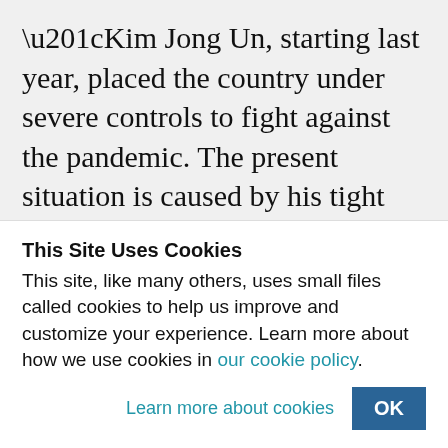“Kim Jong Un, starting last year, placed the country under severe controls to fight against the pandemic. The present situation is caused by his tight control of everything to fight against the coronavirus. Businesses have been closed, market dealings limited, people’s activities restricted. A lot of people have lost the means of earning money. Even if some goods are for sale, they don’t have cash to
This Site Uses Cookies
This site, like many others, uses small files called cookies to help us improve and customize your experience. Learn more about how we use cookies in our cookie policy.
Learn more about cookies   OK